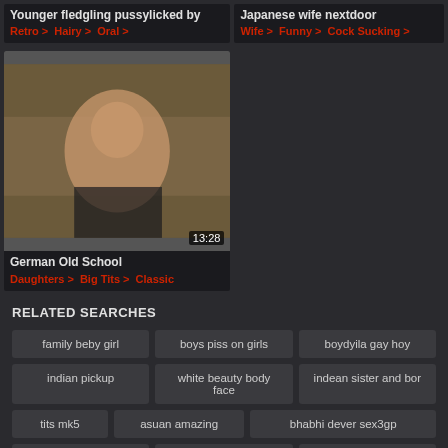[Figure (screenshot): Video thumbnail card: Younger fledgling pussylicked by, tags: Retro, Hairy, Oral]
[Figure (screenshot): Video card: Japanese wife nextdoor, tags: Wife, Funny, Cock Sucking]
[Figure (photo): Video thumbnail: German Old School, 13:28 duration, tags: Daughters, Big Tits, Classic]
RELATED SEARCHES
family beby girl
boys piss on girls
boydyila gay hoy
indian pickup
white beauty body face
indean sister and bor
tits mk5
asuan amazing
bhabhi dever sex3gp
village fak poren
drime prom
teen threesome one